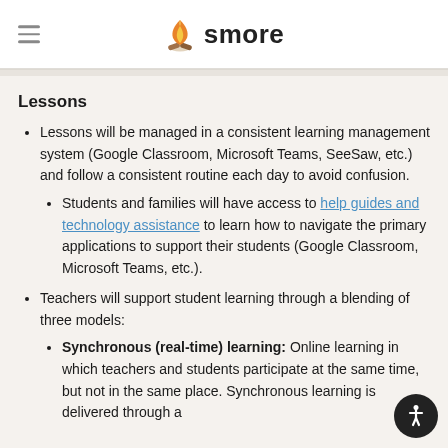smore
Lessons
Lessons will be managed in a consistent learning management system (Google Classroom, Microsoft Teams, SeeSaw, etc.) and follow a consistent routine each day to avoid confusion.
Students and families will have access to help guides and technology assistance to learn how to navigate the primary applications to support their students (Google Classroom, Microsoft Teams, etc.).
Teachers will support student learning through a blending of three models:
Synchronous (real-time) learning: Online learning in which teachers and students participate at the same time, but not in the same place. Synchronous learning is delivered through a